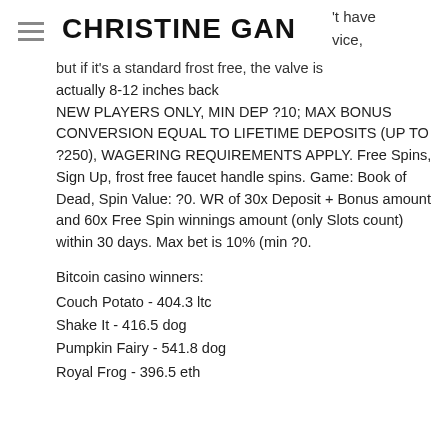CHRISTINE GAN
but if it's a standard frost free, the valve is actually 8-12 inches back NEW PLAYERS ONLY, MIN DEP ?10; MAX BONUS CONVERSION EQUAL TO LIFETIME DEPOSITS (UP TO ?250), WAGERING REQUIREMENTS APPLY. Free Spins, Sign Up, frost free faucet handle spins. Game: Book of Dead, Spin Value: ?0. WR of 30x Deposit + Bonus amount and 60x Free Spin winnings amount (only Slots count) within 30 days. Max bet is 10% (min ?0.
Bitcoin casino winners:
Couch Potato - 404.3 ltc
Shake It - 416.5 dog
Pumpkin Fairy - 541.8 dog
Royal Frog - 396.5 eth